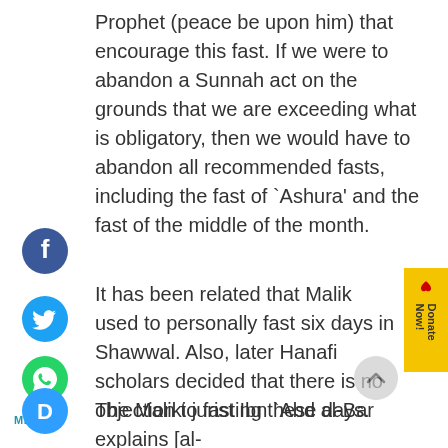Prophet (peace be upon him) that encourage this fast. If we were to abandon a Sunnah act on the grounds that we are exceeding what is obligatory, then we would have to abandon all recommended fasts, including the fast of `Ashura' and the fast of the middle of the month.
[Figure (logo): Facebook social share icon - blue circle with white F]
[Figure (logo): Twitter social share icon - blue circle with white bird]
[Figure (logo): WhatsApp share icon - green circle with white phone]
It has been related that Malik used to personally fast six days in Shawwal. Also, later Hanafi scholars decided that there is no objection to fasting these days.
MENU
[Figure (logo): Disqus comment icon - blue circle with white D]
The Maliki jurist Ibn `Abd al-Bar explains [al-